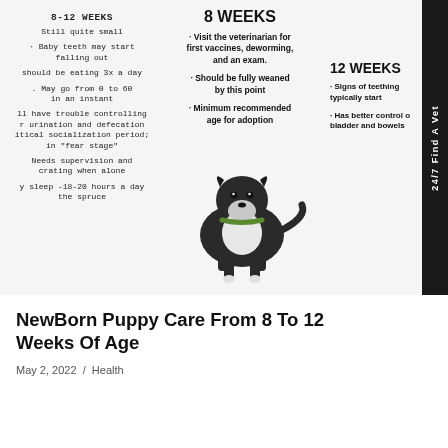8-12 WEEKS
Still quite small
· Baby teeth may start falling out
should be eating 3x a day
. May go from 0 to 60 in an instant
ll have trouble controlling r urination and defecation itical socialization period; in "fear stage"
Needs supervision and crating when alone
y sleep -18-20 hours a day the spruce
8 WEEKS
· Visit the veterinarian for first vaccines, deworming, and an exam.
· Should be fully weaned by this point
· Minimum recommended age for adoption
12 WEEKS
· Signs of teething typically start
· Has better control o bladder and bowels
[Figure (illustration): Black and white puppy standing, wearing a green collar, on a white/light background]
24/7 Find A Vet
NewBorn Puppy Care From 8 To 12 Weeks Of Age
May 2, 2022  /  Health